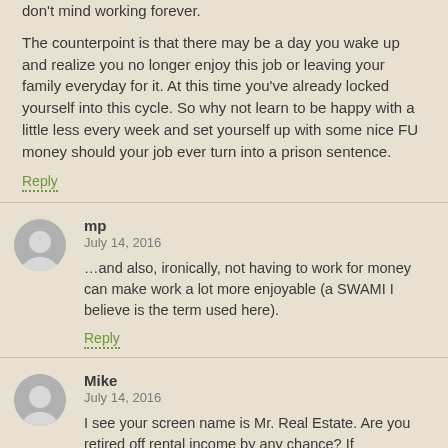don't mind working forever.

The counterpoint is that there may be a day you wake up and realize you no longer enjoy this job or leaving your family everyday for it. At this time you've already locked yourself into this cycle. So why not learn to be happy with a little less every week and set yourself up with some nice FU money should your job ever turn into a prison sentence.
Reply
mp
July 14, 2016
…and also, ironically, not having to work for money can make work a lot more enjoyable (a SWAMI I believe is the term used here).
Reply
Mike
July 14, 2016
I see your screen name is Mr. Real Estate. Are you retired off rental income by any chance? If